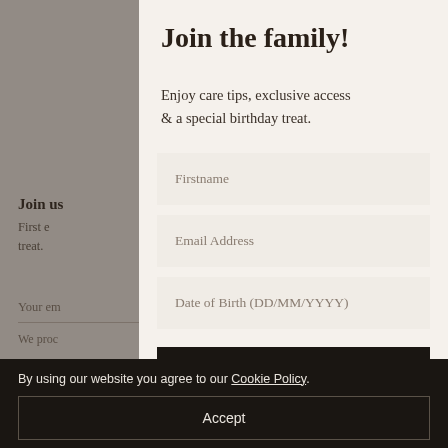Join the family!
Enjoy care tips, exclusive access & a special birthday treat.
Firstname
Email Address
Date of Birth (DD/MM/YYYY)
Sign up
By using our website you agree to our Cookie Policy.
Accept